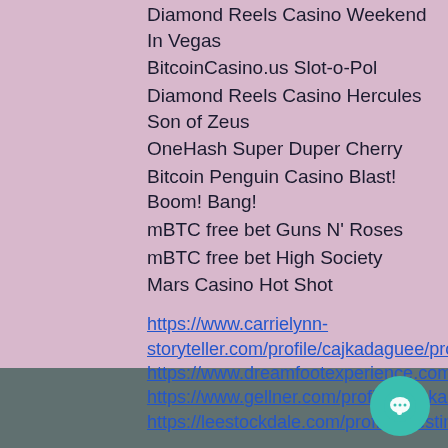Diamond Reels Casino Weekend In Vegas
BitcoinCasino.us Slot-o-Pol
Diamond Reels Casino Hercules Son of Zeus
OneHash Super Duper Cherry
Bitcoin Penguin Casino Blast! Boom! Bang!
mBTC free bet Guns N' Roses
mBTC free bet High Society
Mars Casino Hot Shot
https://www.carrielynn-storyteller.com/profile/cajkadaguee/profile https://www.dreamfootexperience.com/profile/bazankounceu/profile https://www.gellner.com/profile/galskannana/profile https://leestockdale.com/profile/urestimeierst/profile